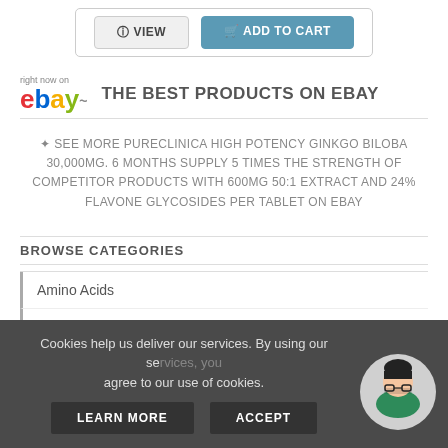[Figure (screenshot): VIEW and ADD TO CART buttons at top of page]
[Figure (logo): eBay logo with 'right now on' text above]
THE BEST PRODUCTS ON EBAY
✦ SEE MORE PURECLINICA HIGH POTENCY GINKGO BILOBA 30,000MG. 6 MONTHS SUPPLY 5 TIMES THE STRENGTH OF COMPETITOR PRODUCTS WITH 600MG 50:1 EXTRACT AND 24% FLAVONE GLYCOSIDES PER TABLET ON EBAY
BROWSE CATEGORIES
Amino Acids
Antioxidants
Cookies help us deliver our services. By using our services, you agree to our use of cookies.
LEARN MORE   ACCEPT